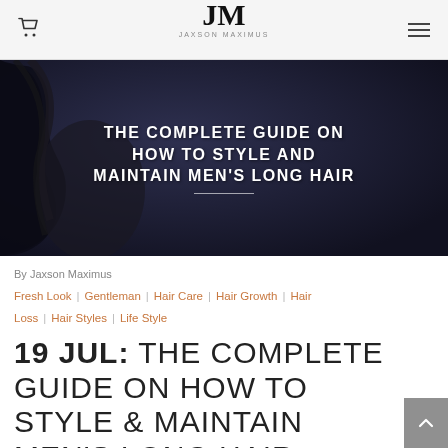JM
[Figure (photo): Hero image of a man with long dark hair against a dark background, with white uppercase text overlay reading 'THE COMPLETE GUIDE ON HOW TO STYLE AND MAINTAIN MEN'S LONG HAIR']
By Jaxson Maximus
Fresh Look | Gentleman | Hair Care | Hair Growth | Hair Loss | Hair Styles | Life Style
19 JUL: THE COMPLETE GUIDE ON HOW TO STYLE & MAINTAIN MEN'S LONG HAIR